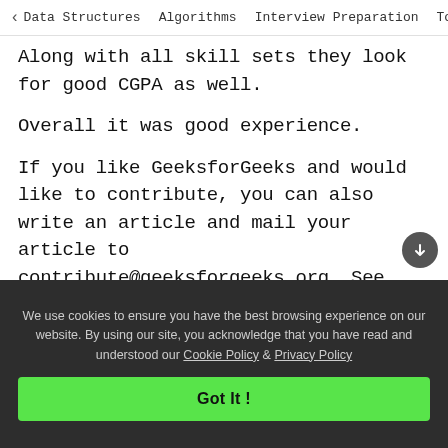< Data Structures   Algorithms   Interview Preparation   To>
Along with all skill sets they look for good CGPA as well.
Overall it was good experience.
If you like GeeksforGeeks and would like to contribute, you can also write an article and mail your article to contribute@geeksforgeeks.org. See your article appearing on the GeeksforGeeks main page and help other Geeks.
Please write comments if you find anything
We use cookies to ensure you have the best browsing experience on our website. By using our site, you acknowledge that you have read and understood our Cookie Policy & Privacy Policy
Got It !